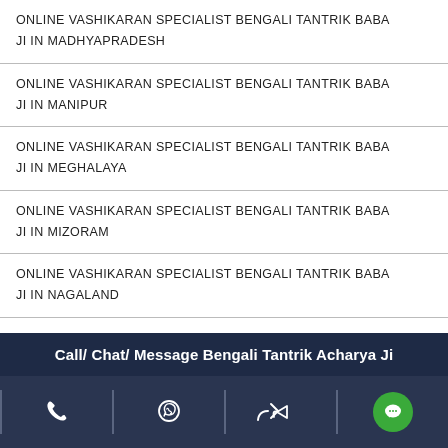ONLINE VASHIKARAN SPECIALIST BENGALI TANTRIK BABA JI IN MADHYAPRADESH
ONLINE VASHIKARAN SPECIALIST BENGALI TANTRIK BABA JI IN MANIPUR
ONLINE VASHIKARAN SPECIALIST BENGALI TANTRIK BABA JI IN MEGHALAYA
ONLINE VASHIKARAN SPECIALIST BENGALI TANTRIK BABA JI IN MIZORAM
ONLINE VASHIKARAN SPECIALIST BENGALI TANTRIK BABA JI IN NAGALAND
Call/ Chat/ Message Bengali Tantrik Acharya Ji
[Figure (infographic): Icon bar with phone, WhatsApp, share, and chat icons on dark navy background]